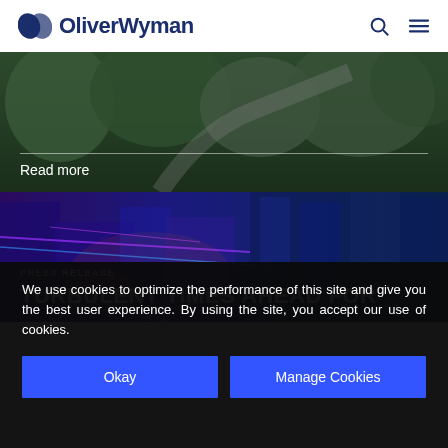OliverWyman
[Figure (photo): Aerial/nature photo background with a 'Read more' link overlay]
Read more
[Figure (photo): Night cityscape with blue/purple neon lights on buildings]
PRESS RELEASE
TURBULENT TIMES AHEAD FOR
We use cookies to optimize the performance of this site and give you the best user experience. By using the site, you accept our use of cookies.
Okay
Manage Cookies